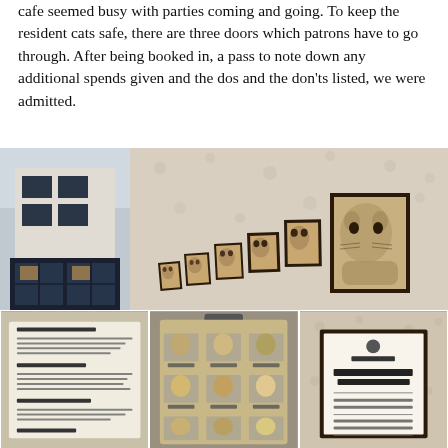cafe seemed busy with parties coming and going. To keep the resident cats safe, there are three doors which patrons have to go through. After being booked in, a pass to note down any additional spends given and the dos and the don'ts listed, we were admitted.
[Figure (photo): Top-left: exterior of a multi-storey building with large shopfront windows (the cat cafe). Top-right: interior wall with floral wallpaper and a row of framed cat portrait photographs arranged diagonally ascending. Bottom-left: a printed sign with cat cafe rules text. Bottom-center: a clipboard or display board with a grid of cat photos with name labels. Bottom-right: a framed 'HAPPY CAT HOUSE RULES' sign on floral wallpaper.]